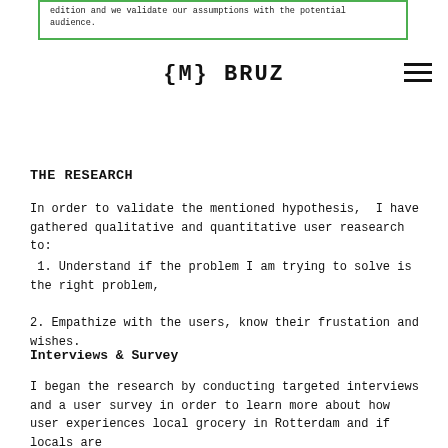edition and we validate our assumptions with the potential audience.
{M} BRUZ
THE RESEARCH
In order to validate the mentioned hypothesis,  I have gathered qualitative and quantitative user reasearch to:
1. Understand if the problem I am trying to solve is the right problem,
2. Empathize with the users, know their frustation and wishes.
Interviews & Survey
I began the research by conducting targeted interviews and a user survey in order to learn more about how user experiences local grocery in Rotterdam and if locals are